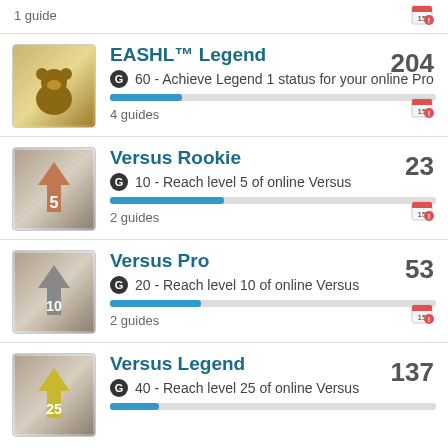1 guide
EASHL™ Legend — 204 — G 60 - Achieve Legend 1 status for your online Pro — 4 guides
Versus Rookie — 23 — G 10 - Reach level 5 of online Versus — 2 guides
Versus Pro — 53 — G 20 - Reach level 10 of online Versus — 2 guides
Versus Legend — 137 — G 40 - Reach level 25 of online Versus